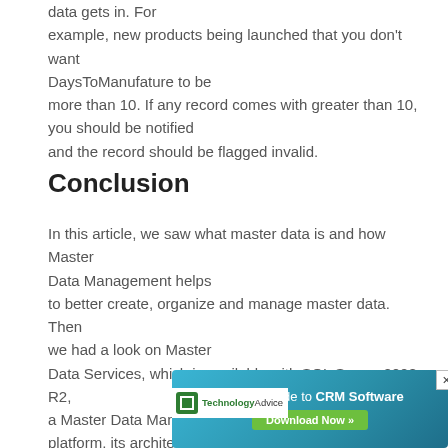data gets in. For example, new products being launched that you don't want DaysToManufature to be more than 10. If any record comes with greater than 10, you should be notified and the record should be flagged invalid.
Conclusion
In this article, we saw what master data is and how Master Data Management helps to better create, organize and manage master data. Then we had a look on Master Data Services, which is available with SQL Server 2008 R2, a Master Data Management platform, its architecture and different components of it. In the ne[xt article] I am g[oing to...]
[Figure (other): Advertisement banner: Buyer's Guide to CRM Software with Download Now button, TechnologyAdvice logo, overlaid on bottom right of page with close X button]